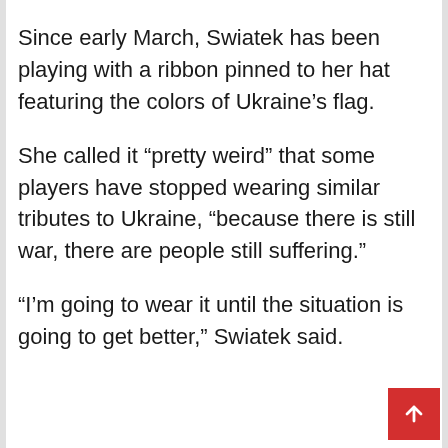Since early March, Swiatek has been playing with a ribbon pinned to her hat featuring the colors of Ukraine’s flag.
She called it “pretty weird” that some players have stopped wearing similar tributes to Ukraine, “because there is still war, there are people still suffering.”
“I’m going to wear it until the situation is going to get better,” Swiatek said.
[Figure (other): Red scroll-to-top button with white upward arrow, positioned in the bottom-right corner]